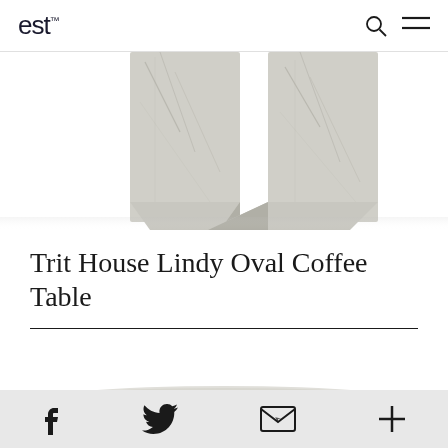est
[Figure (photo): Partial view of two marble table legs (Trit House Lindy Oval Coffee Table), showing grey/white veined marble slabs against a white background, cropped at top of page.]
Trit House Lindy Oval Coffee Table
[Figure (photo): Partial bottom view of a marble coffee table top with white/grey veining, cropped at bottom of visible area.]
f  twitter  email  +